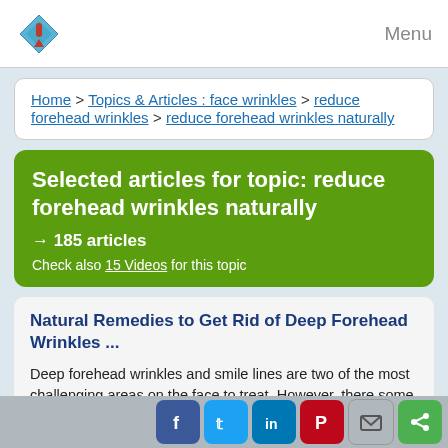Menu
Home > Topics & Articles : face wrinkles > reduce forehead wrinkles > reduce forehead wrinkles naturally
Selected articles for topic: reduce forehead wrinkles naturally
→ 185 articles
Check also 15 Videos for this topic
Natural Remedies to Get Rid of Deep Forehead Wrinkles ...
Deep forehead wrinkles and smile lines are two of the most challenging areas on the face to treat. However, there some effective home remedies for deep forehead wrinkle treatment.
Deep Wrinkle Creams- Best...
Read more